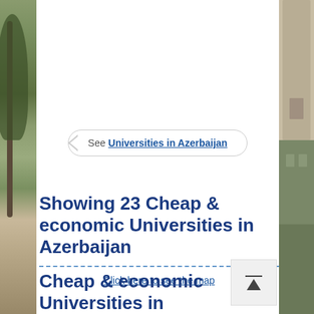[Figure (photo): Photograph strip on left side: college/university courtyard with trees and stone buildings]
[Figure (photo): Photograph strip on right side: stone building facade of a university]
See Universities in Azerbaijan
Showing 23 Cheap & economic Universities in Azerbaijan
Click here to see the map
Cheap & economic Universities in